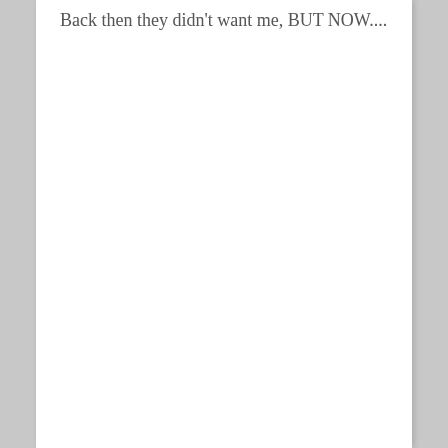Back then they didn't want me, BUT NOW....